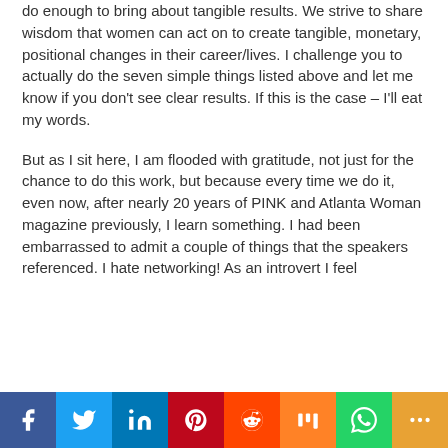do enough to bring about tangible results. We strive to share wisdom that women can act on to create tangible, monetary, positional changes in their career/lives. I challenge you to actually do the seven simple things listed above and let me know if you don't see clear results. If this is the case – I'll eat my words.
But as I sit here, I am flooded with gratitude, not just for the chance to do this work, but because every time we do it, even now, after nearly 20 years of PINK and Atlanta Woman magazine previously, I learn something. I had been embarrassed to admit a couple of things that the speakers referenced. I hate networking! As an introvert I feel
[Figure (infographic): Social media sharing bar with icons for Facebook (blue), Twitter (light blue), LinkedIn (dark blue), Pinterest (red), Reddit (orange-red), Mix (orange), WhatsApp (green), and More (amber/yellow).]